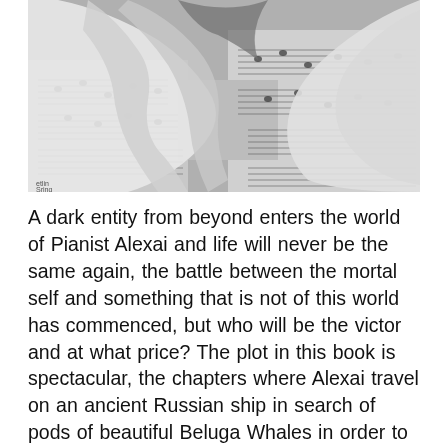[Figure (illustration): Grayscale illustration of hands playing piano keys overlaid with sheet music pages, rendered in a stylized graphic/anime art style.]
A dark entity from beyond enters the world of Pianist Alexai and life will never be the same again, the battle between the mortal self and something that is not of this world has commenced, but who will be the victor and at what price? The plot in this book is spectacular, the chapters where Alexai travel on an ancient Russian ship in search of pods of beautiful Beluga Whales in order to record their amazing singing to compose a symphony is just out of this world. You will be taken away with it, you will be on the ship, you will also be swimming with